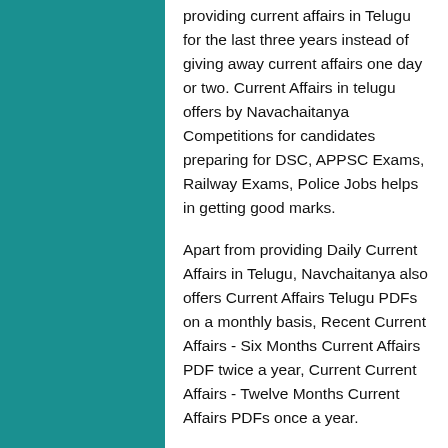providing current affairs in Telugu for the last three years instead of giving away current affairs one day or two. Current Affairs in telugu offers by Navachaitanya Competitions for candidates preparing for DSC, APPSC Exams, Railway Exams, Police Jobs helps in getting good marks.
Apart from providing Daily Current Affairs in Telugu, Navchaitanya also offers Current Affairs Telugu PDFs on a monthly basis, Recent Current Affairs - Six Months Current Affairs PDF twice a year, Current Current Affairs - Twelve Months Current Affairs PDFs once a year.
Current Affairs in Telugu - 12months Current Affairs PDF:
As mentioned earlier Navchaitanya